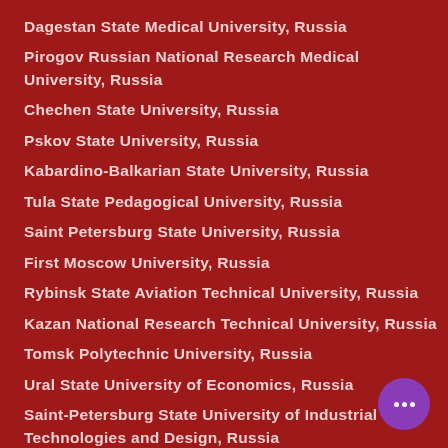Dagestan State Medical University, Russia
Pirogov Russian National Research Medical University, Russia
Chechen State University, Russia
Pskov State University, Russia
Kabardino-Balkarian State University, Russia
Tula State Pedagogical University, Russia
Saint Petersburg State University, Russia
First Moscow University, Russia
Rybinsk State Aviation Technical University, Russia
Kazan National Research Technical University, Russia
Tomsk Polytechnic University, Russia
Ural State University of Economics, Russia
Saint-Petersburg State University of Industrial Technologies and Design, Russia
Grozny State Oil Technical University, Russia